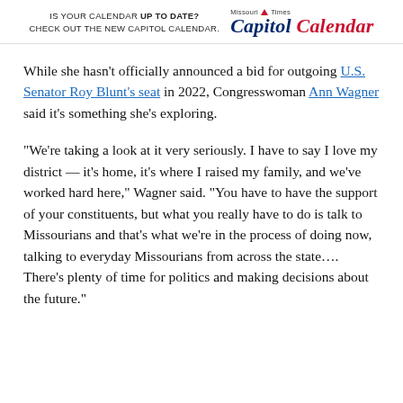IS YOUR CALENDAR UP TO DATE? CHECK OUT THE NEW CAPITOL CALENDAR. Missouri Times Capitol Calendar
While she hasn't officially announced a bid for outgoing U.S. Senator Roy Blunt's seat in 2022, Congresswoman Ann Wagner said it's something she's exploring.
“We’re taking a look at it very seriously. I have to say I love my district — it’s home, it’s where I raised my family, and we’ve worked hard here,” Wagner said. “You have to have the support of your constituents, but what you really have to do is talk to Missourians and that’s what we’re in the process of doing now, talking to everyday Missourians from across the state.…  There’s plenty of time for politics and making decisions about the future.”